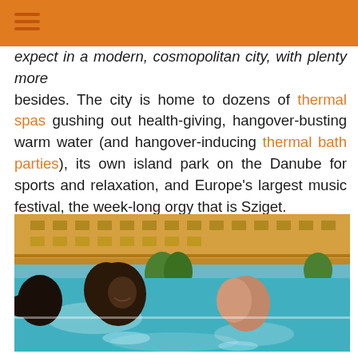[hamburger menu icon on orange header bar]
expect in a modern, cosmopolitan city, with plenty more besides. The city is home to dozens of thermal spas gushing out health-giving, hangover-busting warm water (and hangover-inducing thermal bath parties), its own island park on the Danube for sports and relaxation, and Europe's largest music festival, the week-long orgy that is Sziget.
[Figure (photo): People smiling and relaxing in a thermal spa pool, with a grand yellow building visible in the background. The water is bright turquoise/teal.]